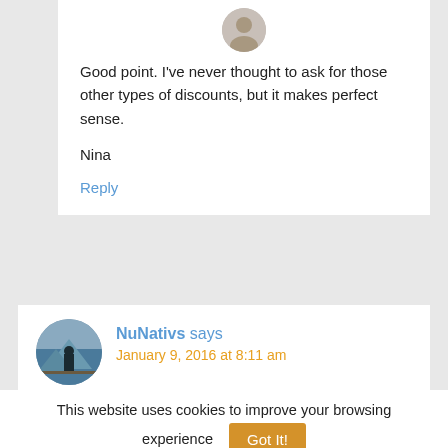[Figure (photo): Circular avatar photo of a person at the top of the first comment block]
Good point. I've never thought to ask for those other types of discounts, but it makes perfect sense.
Nina
Reply
[Figure (photo): Circular avatar photo of a person standing on a deck with mountain/lake background for NuNativs comment]
NuNativs says
January 9, 2016 at 8:11 am
This website uses cookies to improve your browsing experience   Got It!
To find out more, or learn how to change your cookie settings, click here   Read more